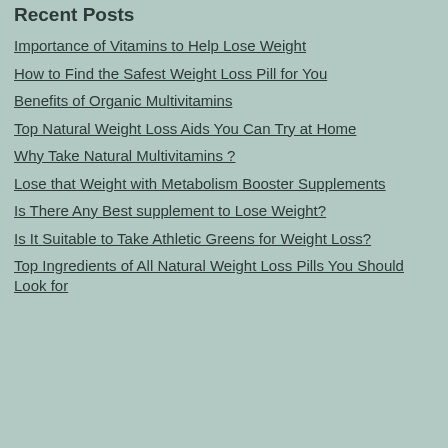Recent Posts
Importance of Vitamins to Help Lose Weight
How to Find the Safest Weight Loss Pill for You
Benefits of Organic Multivitamins
Top Natural Weight Loss Aids You Can Try at Home
Why Take Natural Multivitamins ?
Lose that Weight with Metabolism Booster Supplements
Is There Any Best supplement to Lose Weight?
Is It Suitable to Take Athletic Greens for Weight Loss?
Top Ingredients of All Natural Weight Loss Pills You Should Look for